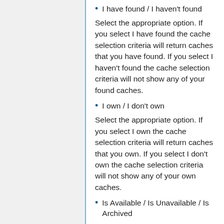I have found / I haven't found
Select the appropriate option. If you select I have found the cache selection criteria will return caches that you have found. If you select I haven't found the cache selection criteria will not show any of your found caches.
I own / I don't own
Select the appropriate option. If you select I own the cache selection criteria will return caches that you own. If you select I don't own the cache selection criteria will not show any of your own caches.
Is Available / Is Unavailable / Is Archived
Select the appropriate option. If you select Is Available only available caches